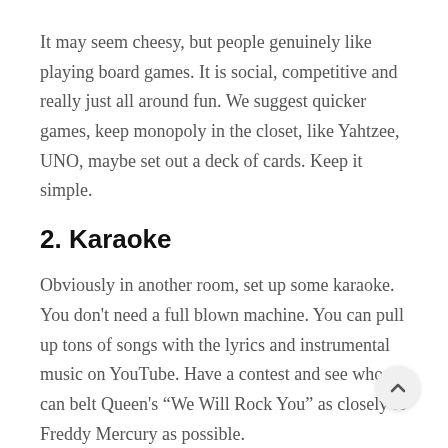It may seem cheesy, but people genuinely like playing board games. It is social, competitive and really just all around fun. We suggest quicker games, keep monopoly in the closet, like Yahtzee, UNO, maybe set out a deck of cards. Keep it simple.
2. Karaoke
Obviously in another room, set up some karaoke. You don't need a full blown machine. You can pull up tons of songs with the lyrics and instrumental music on YouTube. Have a contest and see who can belt Queen's “We Will Rock You” as closely to Freddy Mercury as possible.